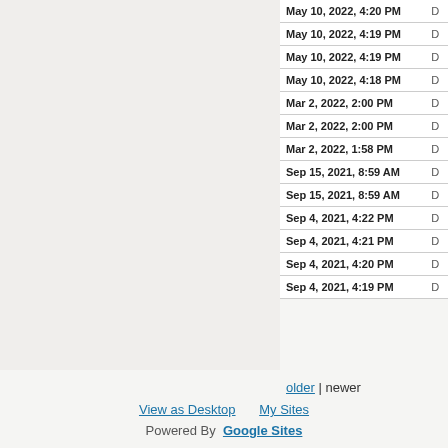| Date/Time | Type |
| --- | --- |
| May 10, 2022, 4:20 PM | D |
| May 10, 2022, 4:19 PM | D |
| May 10, 2022, 4:19 PM | D |
| May 10, 2022, 4:18 PM | D |
| Mar 2, 2022, 2:00 PM | D |
| Mar 2, 2022, 2:00 PM | D |
| Mar 2, 2022, 1:58 PM | D |
| Sep 15, 2021, 8:59 AM | D |
| Sep 15, 2021, 8:59 AM | D |
| Sep 4, 2021, 4:22 PM | D |
| Sep 4, 2021, 4:21 PM | D |
| Sep 4, 2021, 4:20 PM | D |
| Sep 4, 2021, 4:19 PM | D |
older | newer
View as Desktop   My Sites   Powered By Google Sites